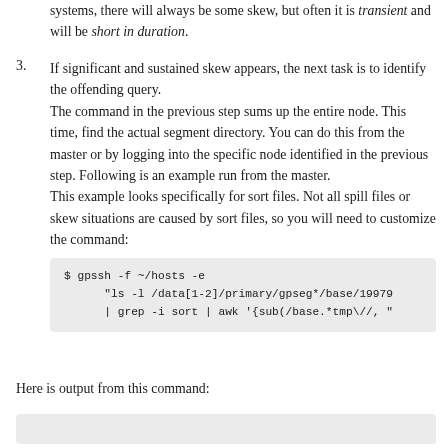systems, there will always be some skew, but often it is transient and will be short in duration.
3. If significant and sustained skew appears, the next task is to identify the offending query. The command in the previous step sums up the entire node. This time, find the actual segment directory. You can do this from the master or by logging into the specific node identified in the previous step. Following is an example run from the master. This example looks specifically for sort files. Not all spill files or skew situations are caused by sort files, so you will need to customize the command:
$ gpssh -f ~/hosts -e
      "ls -l /data[1-2]/primary/gpseg*/base/19979
      | grep -i sort | awk '{sub(/base.*tmp\//, "
Here is output from this command: